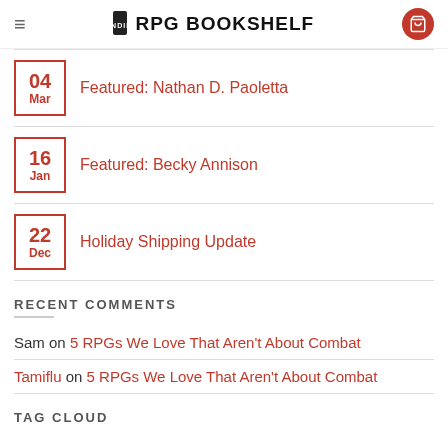≡ INDIE RPG BOOKSHELF 🛒
04 Mar — Featured: Nathan D. Paoletta
16 Jan — Featured: Becky Annison
22 Dec — Holiday Shipping Update
RECENT COMMENTS
Sam on 5 RPGs We Love That Aren't About Combat
Tamiflu on 5 RPGs We Love That Aren't About Combat
TAG CLOUD